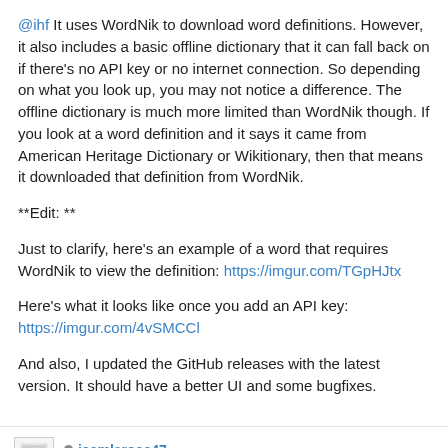@ihf It uses WordNik to download word definitions. However, it also includes a basic offline dictionary that it can fall back on if there's no API key or no internet connection. So depending on what you look up, you may not notice a difference. The offline dictionary is much more limited than WordNik though. If you look at a word definition and it says it came from American Heritage Dictionary or Wikitionary, then that means it downloaded that definition from WordNik.
**Edit: **
Just to clarify, here's an example of a word that requires WordNik to view the definition: https://imgur.com/TGpHJtx
Here's what it looks like once you add an API key: https://imgur.com/4vSMCCl
And also, I updated the GitHub releases with the latest version. It should have a better UI and some bugfixes.
jsamlarose47 posted 4 years ago  ▲ 1